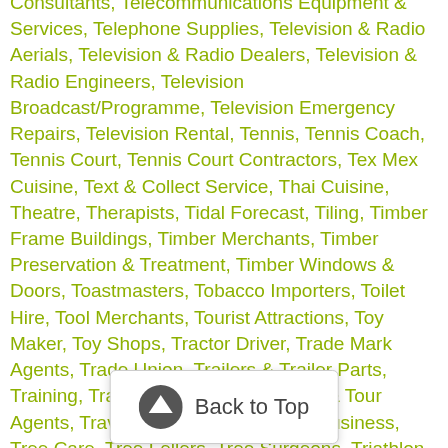Consultants, Telecommunications Equipment & Services, Telephone Supplies, Television & Radio Aerials, Television & Radio Dealers, Television & Radio Engineers, Television Broadcast/Programme, Television Emergency Repairs, Television Rental, Tennis, Tennis Coach, Tennis Court, Tennis Court Contractors, Tex Mex Cuisine, Text & Collect Service, Thai Cuisine, Theatre, Therapists, Tidal Forecast, Tiling, Timber Frame Buildings, Timber Merchants, Timber Preservation & Treatment, Timber Windows & Doors, Toastmasters, Tobacco Importers, Toilet Hire, Tool Merchants, Tourist Attractions, Toy Maker, Toy Shops, Tractor Driver, Trade Mark Agents, Trade Union, Trailers & Trailer Parts, Training, Translation Services, Travel & Tour Agents, Travel Agents - Executive & Business, Tree Care, Tree Fellers, Tree Surgeons, Triathlon, Trophies, Trust Companies, Trust Mediation, Tuition, Turfing, TV Showing Sky ..., ..ation, Typewriters, Typing Services, Tyres, Under Floor Heating, Uninterruptible Power Supply
[Figure (other): Back to Top button overlay with upward arrow icon]